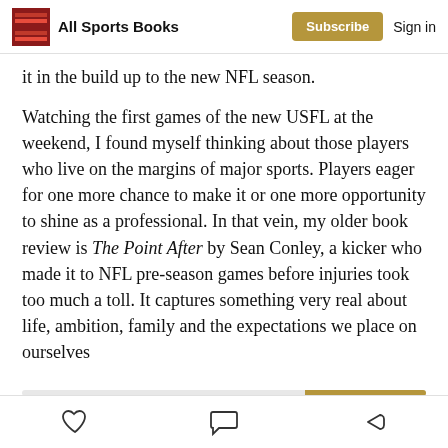All Sports Books  Subscribe  Sign in
it in the build up to the new NFL season.
Watching the first games of the new USFL at the weekend, I found myself thinking about those players who live on the margins of major sports. Players eager for one more chance to make it or one more opportunity to shine as a professional. In that vein, my older book review is The Point After by Sean Conley, a kicker who made it to NFL pre-season games before injuries took too much a toll. It captures something very real about life, ambition, family and the expectations we place on ourselves
Like  Comment  Share